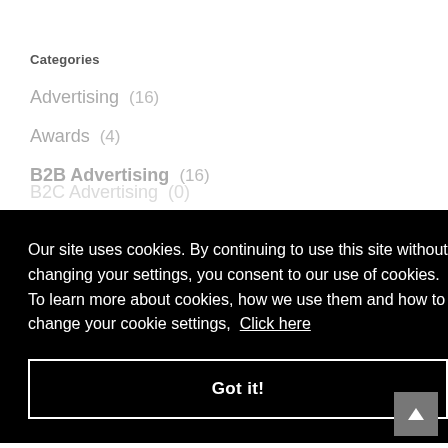Categories
Advertising  (16)
Awards  (4)
B2B Advertising  (16)
B2C Advertising  (0)
Our site uses cookies. By continuing to use this site without changing your settings, you consent to our use of cookies. To learn more about cookies, how we use them and how to change your cookie settings,  Click here
Got it!
Facebook Advertising  (2)